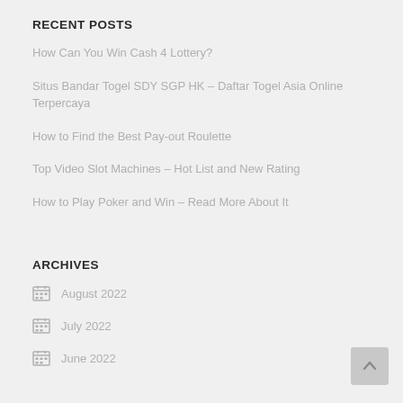RECENT POSTS
How Can You Win Cash 4 Lottery?
Situs Bandar Togel SDY SGP HK – Daftar Togel Asia Online Terpercaya
How to Find the Best Pay-out Roulette
Top Video Slot Machines – Hot List and New Rating
How to Play Poker and Win – Read More About It
ARCHIVES
August 2022
July 2022
June 2022